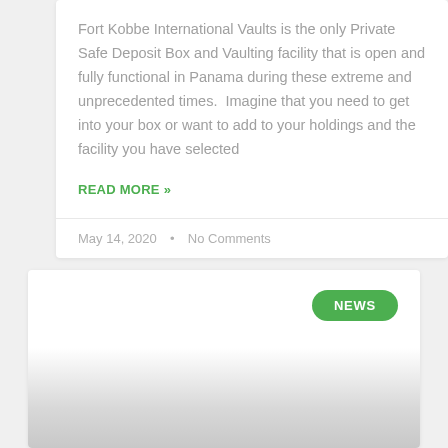Fort Kobbe International Vaults is the only Private Safe Deposit Box and Vaulting facility that is open and fully functional in Panama during these extreme and unprecedented times.  Imagine that you need to get into your box or want to add to your holdings and the facility you have selected
READ MORE »
May 14, 2020  •  No Comments
[Figure (other): Card section with a green NEWS badge button in the top right, with a gray gradient image area below]